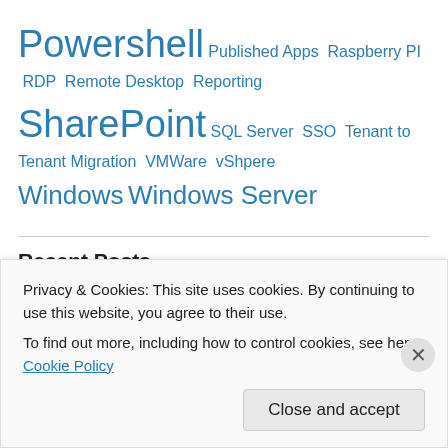Powershell  Published Apps  Raspberry PI  RDP  Remote Desktop  Reporting
SharePoint  SQL Server  SSO  Tenant to Tenant Migration  VMWare  vShpere
Windows  Windows Server
Recent Posts
Problems Sending Emails With Sensitivity Label
Exchange Online PowerShell V2 module
OneDrive for Business Known Folder Moves without GPO
Tenant organization is dehydrated
Privacy & Cookies: This site uses cookies. By continuing to use this website, you agree to their use. To find out more, including how to control cookies, see here: Cookie Policy
Close and accept